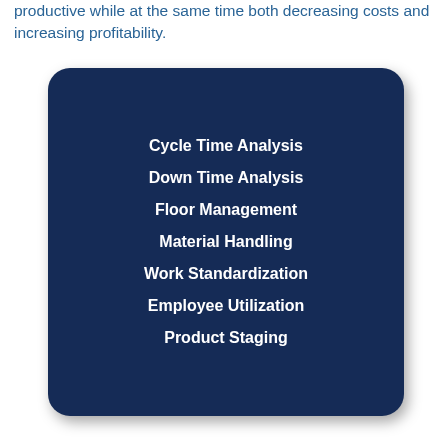productive while at the same time both decreasing costs and increasing profitability.
Cycle Time Analysis
Down Time Analysis
Floor Management
Material Handling
Work Standardization
Employee Utilization
Product Staging